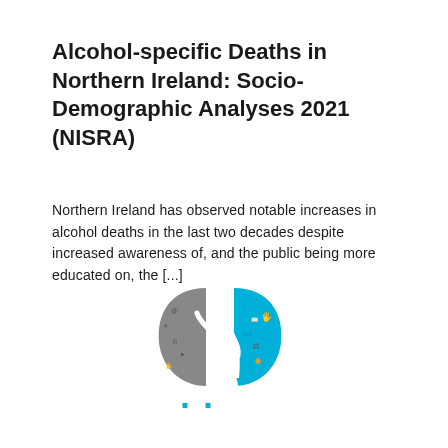Alcohol-specific Deaths in Northern Ireland: Socio-Demographic Analyses 2021 (NISRA)
Northern Ireland has observed notable increases in alcohol deaths in the last two decades despite increased awareness of, and the public being more educated on, the [...]
[Figure (logo): HBSC logo: stylized leaf/teardrop shapes in teal and grey with social media icons and a human figure silhouette, with 'hbsc' lettering in teal and 'HEALTH BEHAVIOUR IN' text below]